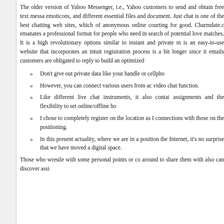The older version of Yahoo Messenger, i.e., Yahoo customers to send and obtain free text messages, emoticons, and different essential files and documents. Just chat is one of the best chatting web sites, which of anonymous online courting for good. Charmdate.c emanates a professional format for people who need in search of potential love matches. It is a high revolutionary options similar to instant and private m is an easy-to-use website that incorporates an intuit registration process is a bit longer since it entails customers are obligated to reply to build an optimized
Don't give out private data like your handle or cellph
However, you can connect various users from ac video chat function.
Like different live chat instruments, it also contai assignments and the flexibility to set online/offline ho
I chose to completely register on the location as I connections with those on the positioning.
In this present actuality, where we are in a position the Internet, it's no surprise that we have moved a digital space.
Those who wrestle with some personal points or co around to share them with also can discover assi